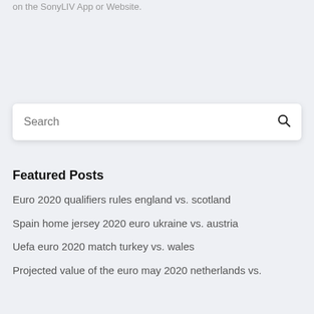on the SonyLIV App or Website.
[Figure (screenshot): Search bar UI element with white background, rounded corners, placeholder text 'Search' and a search icon on the right]
Featured Posts
Euro 2020 qualifiers rules england vs. scotland
Spain home jersey 2020 euro ukraine vs. austria
Uefa euro 2020 match turkey vs. wales
Projected value of the euro may 2020 netherlands vs.